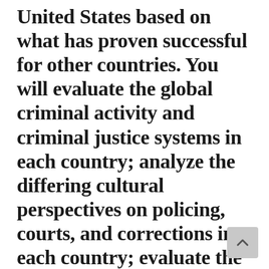United States based on what has proven successful for other countries. You will evaluate the global criminal activity and criminal justice systems in each country; analyze the differing cultural perspectives on policing, courts, and corrections in each country; evaluate the international policing and investigative agencies; and, lastly, compile all of